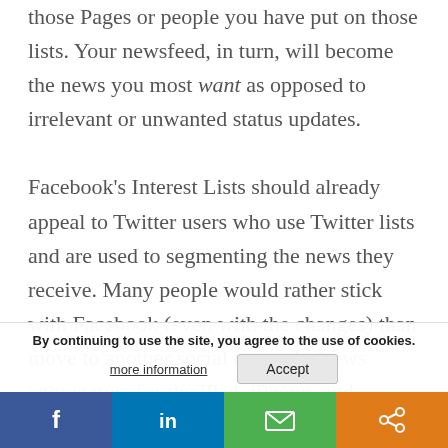those Pages or people you have put on those lists. Your newsfeed, in turn, will become the news you most want as opposed to irrelevant or unwanted status updates.

Facebook's Interest Lists should already appeal to Twitter users who use Twitter lists and are used to segmenting the news they receive. Many people would rather stick with Facebook (even with the changes) than move to another social network. News aggregators for the iPad, iPhone, and Android such as Flipboa... on the rise